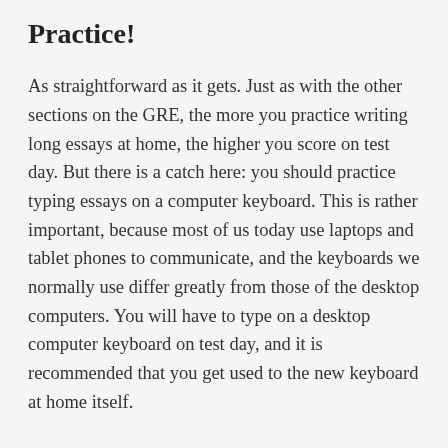Practice!
As straightforward as it gets. Just as with the other sections on the GRE, the more you practice writing long essays at home, the higher you score on test day. But there is a catch here: you should practice typing essays on a computer keyboard. This is rather important, because most of us today use laptops and tablet phones to communicate, and the keyboards we normally use differ greatly from those of the desktop computers. You will have to type on a desktop computer keyboard on test day, and it is recommended that you get used to the new keyboard at home itself.